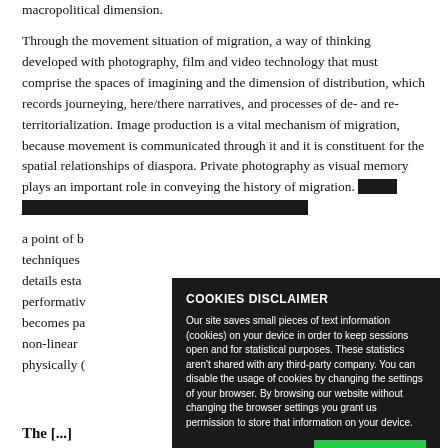macropolitical dimension.

Through the movement situation of migration, a way of thinking developed with photography, film and video technology that must comprise the spaces of imagining and the dimension of distribution, which records journeying, here/there narratives, and processes of de- and re-territorialization. Image production is a vital mechanism of migration, because movement is communicated through it and it is constituent for the spatial relationships of diaspora. Private photography as visual memory plays an important role in conveying the history of migration. Images journey and invite journeying. Photography becomes a point of b... techniques... details esta... performativ... becomes pa... non-linear... physically (...)
[Figure (screenshot): Cookies disclaimer popup overlay with dark background. Title: COOKIES DISCLAIMER. Body text about cookies policy. Green 'I AGREE' button at bottom right.]
The [...]